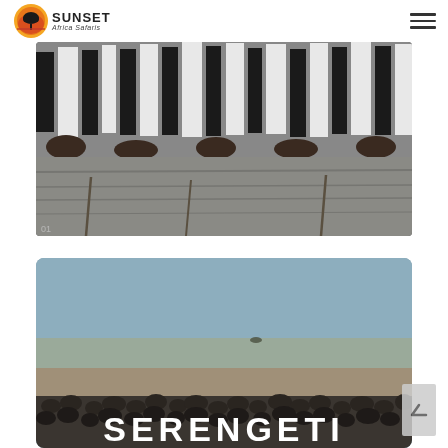Sunset Africa Safaris — navigation header with logo and hamburger menu
[Figure (photo): Close-up photo of zebras wading through muddy water, showing their black-and-white striped bodies from above/side angle]
[Figure (photo): Wide landscape photo of the Serengeti with large herd of wildebeest/animals in foreground under grey-blue sky, with bold white text 'SERENGETI' overlaid at the bottom]
SERENGETI